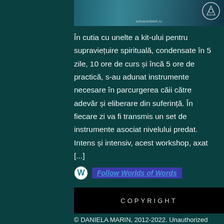[Figure (photo): Partial photo strip showing a person/scene with teal/dark tones, with a website URL overlay and a circular logo in the top right]
În cutia cu unelte a kit-ului pentru supraviețuire spirituală, condensate în 5 zile, 10 ore de curs și încă 5 ore de practică, s-au adunat instrumente necesare în parcurgerea căii către adevăr și eliberare din suferință. În fiecare zi va fi transmis un set de instrumente asociat nivelului predat. Intens și intensiv, acest workshop, axat [...]
Follow Worlds of Words
COPYRIGHT
© DANIELA MARIN, 2012-2022. Unauthorized